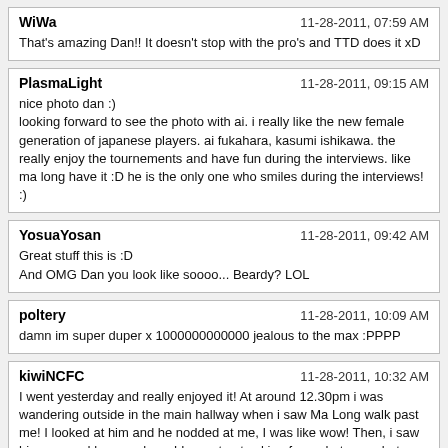WiWa | 11-28-2011, 07:59 AM
That's amazing Dan!! It doesn't stop with the pro's and TTD does it xD
PlasmaLight | 11-28-2011, 09:15 AM
nice photo dan :)
looking forward to see the photo with ai. i really like the new female generation of japanese players. ai fukahara, kasumi ishikawa. the really enjoy the tournements and have fun during the interviews. like ma long have it :D he is the only one who smiles during the interviews! :)
YosuaYosan | 11-28-2011, 09:42 AM
Great stuff this is :D
And OMG Dan you look like soooo... Beardy? LOL
poltery | 11-28-2011, 10:09 AM
damn im super duper x 1000000000000 jealous to the max :PPPP
kiwiNCFC | 11-28-2011, 10:32 AM
I went yesterday and really enjoyed it! At around 12.30pm i was wandering outside in the main hallway when i saw Ma Long walk past me! I looked at him and he nodded at me, I was like wow! Then, i saw him que and buy a subway! I regret not asking for a photo now but evermind :mad:

Will upload some pics in a minute!
Matt Hetherington | 11-28-2011, 10:42 AM